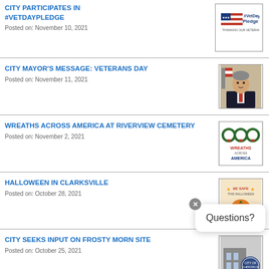CITY PARTICIPATES IN #VETDAYPLEDGE
Posted on: November 10, 2021
[Figure (logo): #VetDay Pledge - Thanking Our Veterans logo with American flag]
CITY MAYOR'S MESSAGE: VETERANS DAY
Posted on: November 11, 2021
[Figure (photo): Photo of city mayor in suit]
WREATHS ACROSS AMERICA AT RIVERVIEW CEMETERY
Posted on: November 2, 2021
[Figure (logo): Wreaths Across America logo with three wreaths]
HALLOWEEN IN CLARKSVILLE
Posted on: October 28, 2021
[Figure (illustration): Halloween in Clarksville event flyer]
CITY SEEKS INPUT ON FROSTY MORN SITE
Posted on: October 25, 2021
[Figure (photo): Photo of building with City of Clarksville seal]